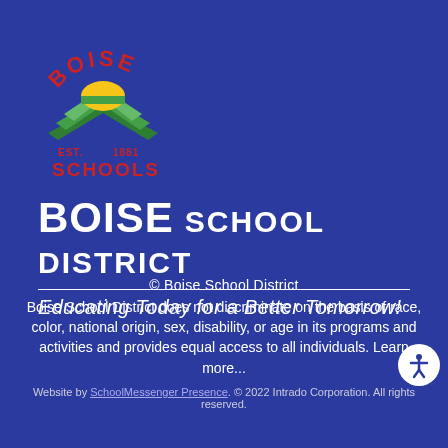[Figure (logo): Boise Schools logo: red arc text BOISE on top, yellow sun rising over green chevron book pages, EST. 1881 and SCHOOLS in red below]
BOISE SCHOOL DISTRICT
Educating Today for a Better Tomorrow!
© Boise School District
Boise School District does not discriminate on the basis of race, color, national origin, sex, disability, or age in its programs and activities and provides equal access to all individuals. Learn more...
Website by SchoolMessenger Presence. © 2022 Intrado Corporation. All rights reserved.